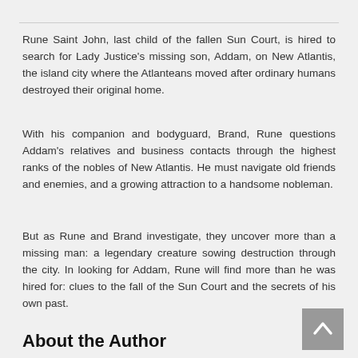Rune Saint John, last child of the fallen Sun Court, is hired to search for Lady Justice's missing son, Addam, on New Atlantis, the island city where the Atlanteans moved after ordinary humans destroyed their original home.
With his companion and bodyguard, Brand, Rune questions Addam's relatives and business contacts through the highest ranks of the nobles of New Atlantis. He must navigate old friends and enemies, and a growing attraction to a handsome nobleman.
But as Rune and Brand investigate, they uncover more than a missing man: a legendary creature sowing destruction through the city. In looking for Addam, Rune will find more than he was hired for: clues to the fall of the Sun Court and the secrets of his own past.
About the Author